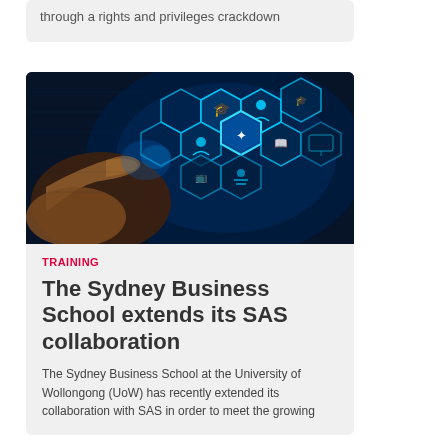through a rights and privileges crackdown
[Figure (photo): A hand pointing at glowing blue hexagonal technology education icons on a dark digital background]
TRAINING
The Sydney Business School extends its SAS collaboration
The Sydney Business School at the University of Wollongong (UoW) has recently extended its collaboration with SAS in order to meet the growing